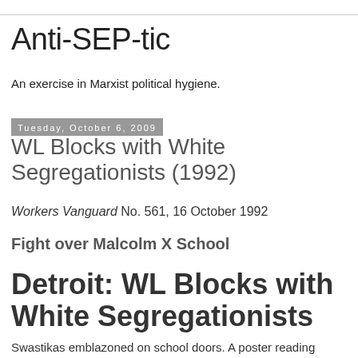Anti-SEP-tic
An exercise in Marxist political hygiene.
Tuesday, October 6, 2009
WL Blocks with White Segregationists (1992)
Workers Vanguard No. 561, 16 October 1992
Fight over Malcolm X School
Detroit: WL Blocks with White Segregationists
Swastikas emblazoned on school doors. A poster reading "Home with Malcolm X" and signs of "KKK". A group of f